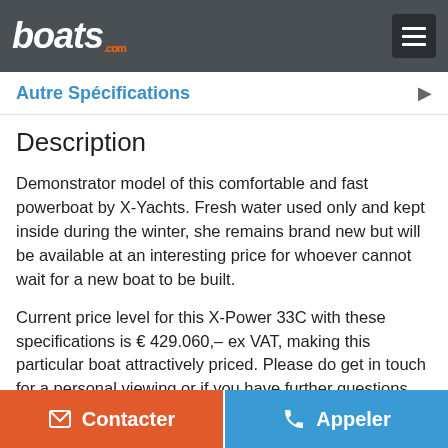boats.com
Autre Spécifications
Description
Demonstrator model of this comfortable and fast powerboat by X-Yachts. Fresh water used only and kept inside during the winter, she remains brand new but will be available at an interesting price for whoever cannot wait for a new boat to be built.
Current price level for this X-Power 33C with these specifications is € 429.060,– ex VAT, making this particular boat attractively priced. Please do get in touch for a personal viewing or if you have further questions.